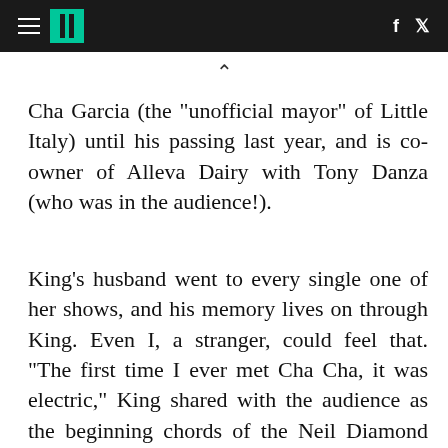HuffPost navigation header with hamburger menu, logo, Facebook and Twitter icons
Cha Garcia (the "unofficial mayor" of Little Italy) until his passing last year, and is co-owner of Alleva Dairy with Tony Danza (who was in the audience!).
King's husband went to every single one of her shows, and his memory lives on through King. Even I, a stranger, could feel that. "The first time I ever met Cha Cha, it was electric," King shared with the audience as the beginning chords of the Neil Diamond classic, If You Go Away, began playing behind King. The relationship of Cha Cha and King was a fast, storybook romance. She